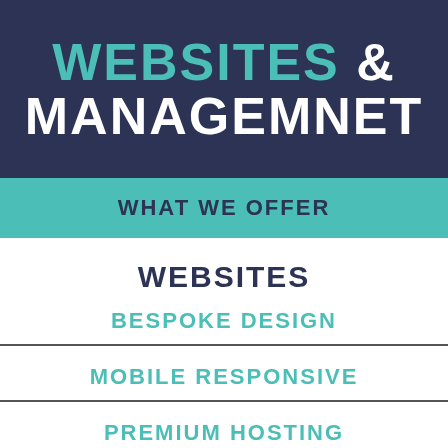WEBSITES & MANAGEMNET
WHAT WE OFFER
WEBSITES
BESPOKE DESIGN
MOBILE RESPONSIVE
PREMIUM HOSTING